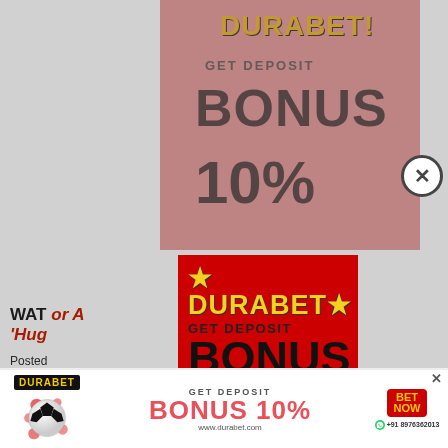[Figure (screenshot): Background faded Durabet advertisement banner showing DURABET logo, GET DEPOSIT, BONUS, 10% text in pink/red tones]
WAT... or A 'Hug...
Posted... account... een the two sta... y ...-long
[Figure (infographic): Durabet popup advertisement on red background: DURABET logo in yellow, GET DEPOSIT BONUS 10%, BET NOW button, soccer ball, WhatsApp +91 8976362013]
[Figure (infographic): Bottom banner: Durabet logo, GET DEPOSIT BONUS 10%, BET NOW button in yellow on red, WhatsApp +91 8976362013, www.durabet.com]